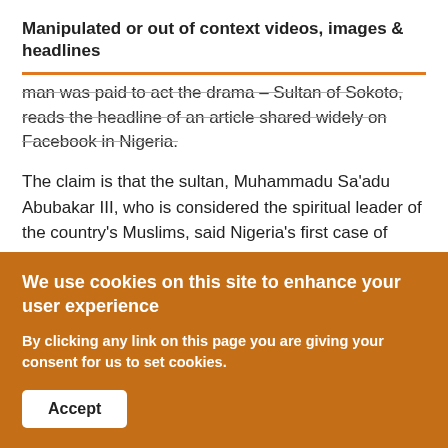Manipulated or out of context videos, images & headlines
man was paid to act the drama – Sultan of Sokoto, reads the headline of an article shared widely on Facebook in Nigeria.
The claim is that the sultan, Muhammadu Sa'adu Abubakar III, who is considered the spiritual leader of the country's Muslims, said Nigeria's first case of Covid-19 was a hoax. This is false - the headline of the article shared on Facebook seems to be clickbait, and is false.
We use cookies on this site to enhance your user experience
By clicking any link on this page you are giving your consent for us to set cookies.
Accept